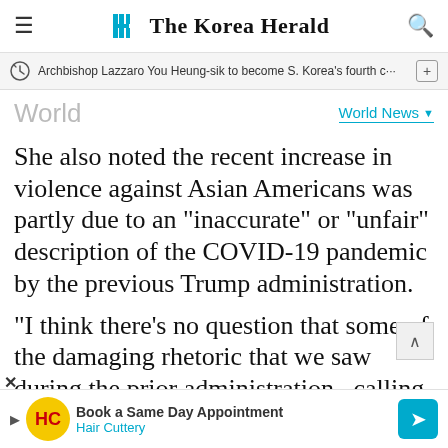The Korea Herald
Archbishop Lazzaro You Heung-sik to become S. Korea's fourth c···
World
World News
She also noted the recent increase in violence against Asian Americans was partly due to an "inaccurate" or "unfair" description of the COVID-19 pandemic by the previous Trump administration.
"I think there's no question that some of the damaging rhetoric that we saw during the prior administration...calling COVID the
Book a Same Day Appointment
Hair Cuttery